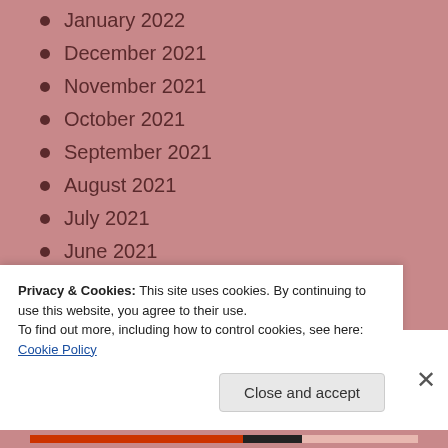January 2022
December 2021
November 2021
October 2021
September 2021
August 2021
July 2021
June 2021
May 2021
April 2021
March 2021
February 2021
Privacy & Cookies: This site uses cookies. By continuing to use this website, you agree to their use. To find out more, including how to control cookies, see here: Cookie Policy